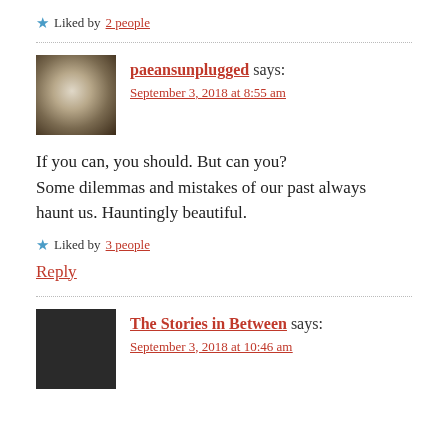★ Liked by 2 people
paeansunplugged says:
September 3, 2018 at 8:55 am
If you can, you should. But can you? Some dilemmas and mistakes of our past always haunt us. Hauntingly beautiful.
★ Liked by 3 people
Reply
The Stories in Between says:
September 3, 2018 at 10:46 am